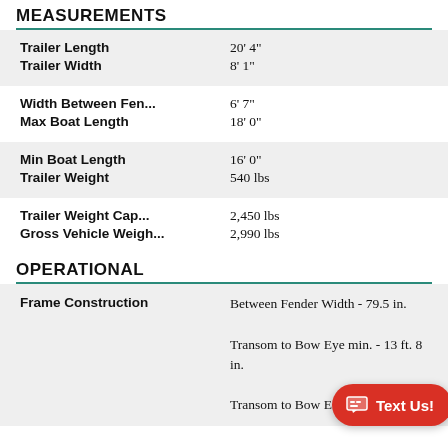MEASUREMENTS
| Trailer Length | 20' 4" |
| Trailer Width | 8' 1" |
| Width Between Fen... | 6' 7" |
| Max Boat Length | 18' 0" |
| Min Boat Length | 16' 0" |
| Trailer Weight | 540 lbs |
| Trailer Weight Cap... | 2,450 lbs |
| Gross Vehicle Weigh... | 2,990 lbs |
OPERATIONAL
| Frame Construction | Between Fender Width - 79.5 in.

Transom to Bow Eye min. - 13 ft. 8 in.

Transom to Bow E... 5 in. |